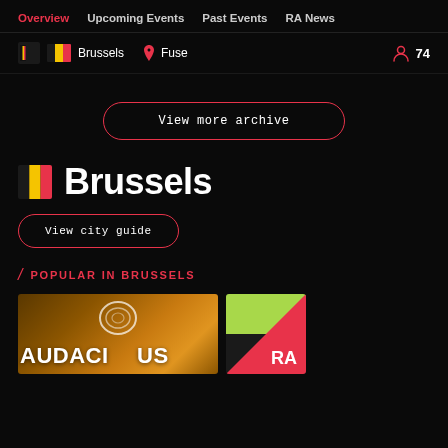Overview | Upcoming Events | Past Events | RA News
Brussels  Fuse  74
View more archive
Brussels
View city guide
POPULAR IN BRUSSELS
[Figure (photo): Audacious event photo with golden/orange warm tones showing the AUDACIOUS text logo with headphones graphic]
[Figure (photo): Small thumbnail with green top half and red triangle corner with RA logo]